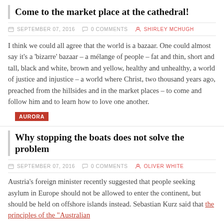Come to the market place at the cathedral!
SEPTEMBER 07, 2016   0 COMMENTS   SHIRLEY MCHUGH
I think we could all agree that the world is a bazaar. One could almost say it's a ‘bizarre’ bazaar – a mélange of people – fat and thin, short and tall, black and white, brown and yellow, healthy and unhealthy, a world of justice and injustice – a world where Christ, two thousand years ago, preached from the hillsides and in the market places – to come and follow him and to learn how to love one another.
AURORA
Why stopping the boats does not solve the problem
SEPTEMBER 07, 2016   0 COMMENTS   OLIVER WHITE
Austria’s foreign minister recently suggested that people seeking asylum in Europe should not be allowed to enter the continent, but should be held on offshore islands instead. Sebastian Kurz said that the principles of the “Australian